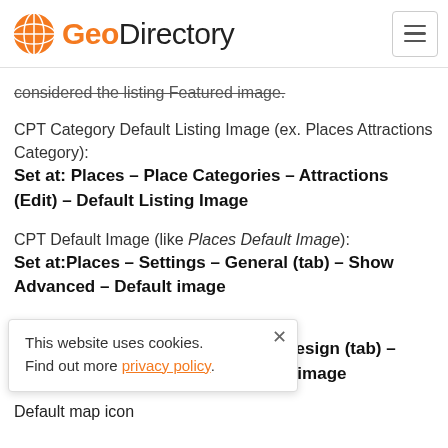GeoDirectory
considered the listing Featured image.
CPT Category Default Listing Image (ex. Places Attractions Category):
Set at: Places – Place Categories – Attractions (Edit) – Default Listing Image
CPT Default Image (like Places Default Image):
Set at:Places – Settings – General (tab) – Show Advanced – Default image
Listing Default Image
Set at: GeoDirectory – Settings – Design (tab) – Archives (subtab) – Listing default image
This website uses cookies. Find out more privacy policy.
Default map icon